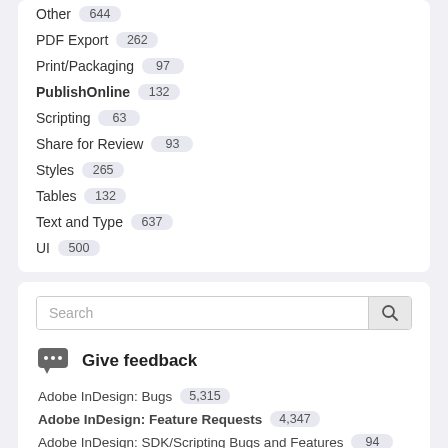Other 644
PDF Export 262
Print/Packaging 97
PublishOnline 132
Scripting 63
Share for Review 93
Styles 265
Tables 132
Text and Type 637
UI 500
Search
Give feedback
Adobe InDesign: Bugs 5,315
Adobe InDesign: Feature Requests 4,347
Adobe InDesign: SDK/Scripting Bugs and Features 94
InDesign (Beta) - Apple Silicon Support 33